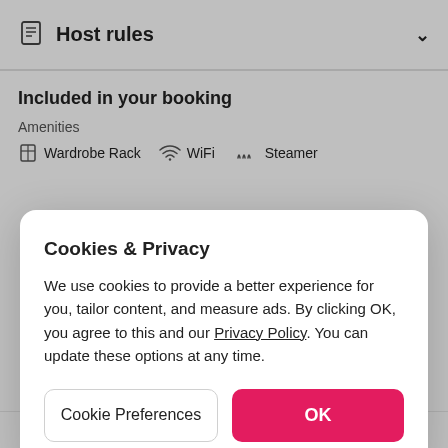Host rules
Included in your booking
Amenities
Wardrobe Rack   WiFi   Steamer
Cookies & Privacy
We use cookies to provide a better experience for you, tailor content, and measure ads. By clicking OK, you agree to this and our Privacy Policy. You can update these options at any time.
Cookie Preferences
OK